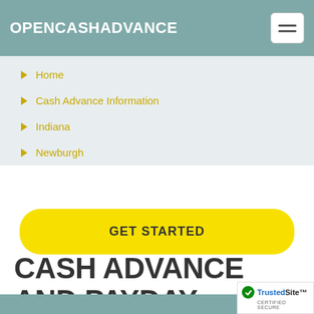OPENCASHADVANCE
Home
Cash Advance Information
Indiana
Newburgh
GET STARTED
CASH ADVANCE AND PAYDAY LOANS IN NEWBURGH, IN.